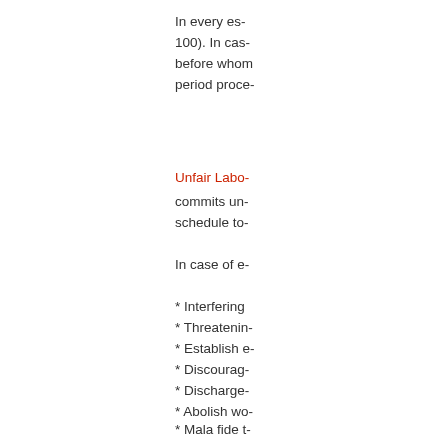In every es... 100). In cas... before whom... period proce...
Unfair Labo...
commits un... schedule to...
In case of e...
* Interfering
* Threatenin
* Establish e
* Discourag
* Discharge
* Abolish wo
* Mala fide t
* Employ ba
* Recruitme
* Acts of for
* Refuse co